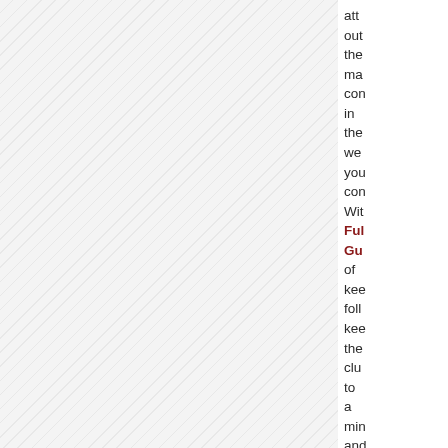att out the ma con in the we you con Wit Full Gu of kee foll kee the clu to a min and live by